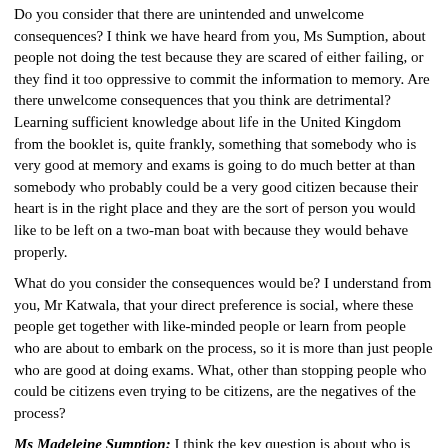Do you consider that there are unintended and unwelcome consequences? I think we have heard from you, Ms Sumption, about people not doing the test because they are scared of either failing, or they find it too oppressive to commit the information to memory. Are there unwelcome consequences that you think are detrimental? Learning sufficient knowledge about life in the United Kingdom from the booklet is, quite frankly, something that somebody who is very good at memory and exams is going to do much better at than somebody who probably could be a very good citizen because their heart is in the right place and they are the sort of person you would like to be left on a two-man boat with because they would behave properly.
What do you consider the consequences would be? I understand from you, Mr Katwala, that your direct preference is social, where these people get together with like-minded people or learn from people who are about to embark on the process, so it is more than just people who are good at doing exams. What, other than stopping people who could be citizens even trying to be citizens, are the negatives of the process?
Ms Madeleine Sumption: I think the key question is about who is excluded and who is unable to do it. The test, as it is...